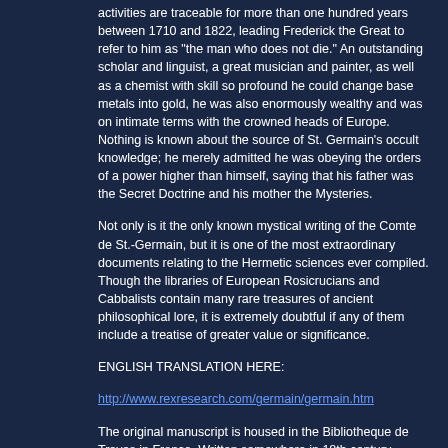activities are traceable for more than one hundred years between 1710 and 1822, leading Frederick the Great to refer to him as "the man who does not die." An outstanding scholar and linguist, a great musician and painter, as well as a chemist with skill so profound he could change base metals into gold, he was also enormously wealthy and was on intimate terms with the crowned heads of Europe. Nothing is known about the source of St. Germain's occult knowledge; he merely admitted he was obeying the orders of a power higher than himself, saying that his father was the Secret Doctrine and his mother the Mysteries.
Not only is it the only known mystical writing of the Comte de St.-Germain, but it is one of the most extraordinary documents relating to the Hermetic sciences ever compiled. Though the libraries of European Rosicrucians and Cabbalists contain many rare treasures of ancient philosophical lore, it is extremely doubtful if any of them include a treatise of greater value or significance.
ENGLISH TRANSLATION HERE:
http://www.rexresearch.com/germain/germain.htm
The original manuscript is housed in the Bibliotheque de Troyes in France. Written somewhere in 18th century.
100 pages, 8.55 MB, PDF. Scanned from original manuscript.